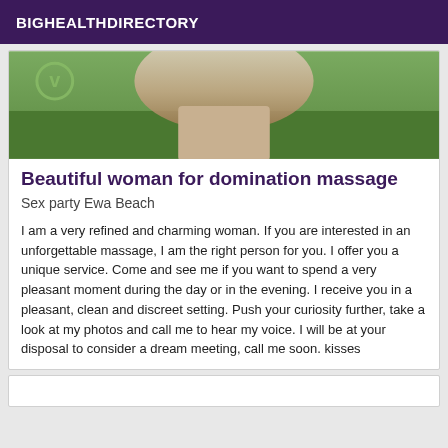BIGHEALTHDIRECTORY
[Figure (photo): Partial photo of a woman outdoors on grass, with a green V logo watermark in the upper left corner.]
Beautiful woman for domination massage
Sex party Ewa Beach
I am a very refined and charming woman. If you are interested in an unforgettable massage, I am the right person for you. I offer you a unique service. Come and see me if you want to spend a very pleasant moment during the day or in the evening. I receive you in a pleasant, clean and discreet setting. Push your curiosity further, take a look at my photos and call me to hear my voice. I will be at your disposal to consider a dream meeting, call me soon. kisses